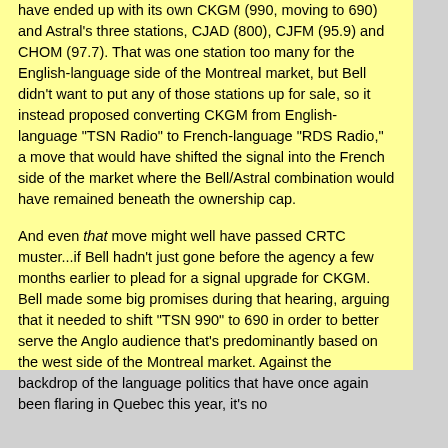have ended up with its own CKGM (990, moving to 690) and Astral's three stations, CJAD (800), CJFM (95.9) and CHOM (97.7). That was one station too many for the English-language side of the Montreal market, but Bell didn't want to put any of those stations up for sale, so it instead proposed converting CKGM from English-language "TSN Radio" to French-language "RDS Radio," a move that would have shifted the signal into the French side of the market where the Bell/Astral combination would have remained beneath the ownership cap.

And even that move might well have passed CRTC muster...if Bell hadn't just gone before the agency a few months earlier to plead for a signal upgrade for CKGM. Bell made some big promises during that hearing, arguing that it needed to shift "TSN 990" to 690 in order to better serve the Anglo audience that's predominantly based on the west side of the Montreal market. Against the backdrop of the language politics that have once again been flaring in Quebec this year, it's no